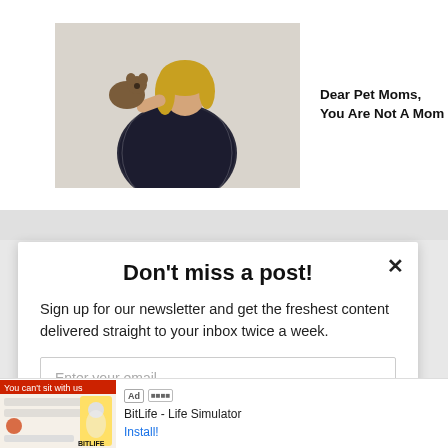[Figure (photo): Woman in floral dress holding a small dog]
Dear Pet Moms, You Are Not A Mom
Don't miss a post!
Sign up for our newsletter and get the freshest content delivered straight to your inbox twice a week.
Enter your email
Subscribe
Ad  BitLife - Life Simulator  Install!